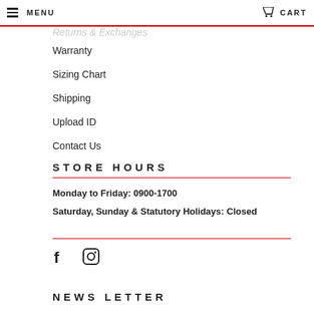MENU   CART
Returns & Exchanges
Warranty
Sizing Chart
Shipping
Upload ID
Contact Us
STORE HOURS
Monday to Friday: 0900-1700
Saturday, Sunday & Statutory Holidays: Closed
[Figure (other): Social media icons: Facebook and Instagram]
NEWS LETTER